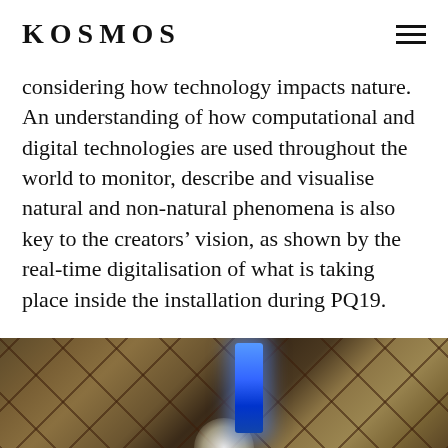KOSMOS
considering how technology impacts nature. An understanding of how computational and digital technologies are used throughout the world to monitor, describe and visualise natural and non-natural phenomena is also key to the creators’ vision, as shown by the real-time digitalisation of what is taking place inside the installation during PQ19.
[Figure (photo): Interior photograph of an installation showing a geometric latticed ceiling structure with dark beams forming a diamond/cross-hatch pattern, warm golden-brown tones, with a blue glowing vertical light element and a white illuminated arc at the bottom center.]